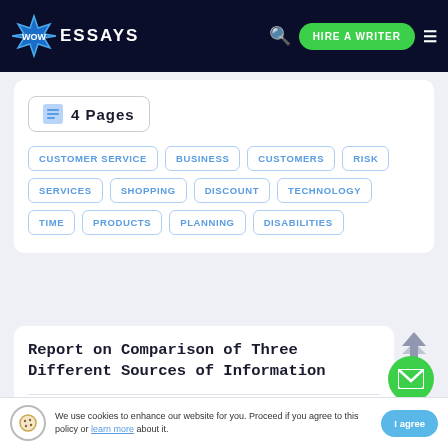WOW ESSAYS | HIRE A WRITER
4 Pages
CUSTOMER SERVICE
BUSINESS
CUSTOMERS
RISK
SERVICES
SHOPPING
DISCOUNT
TECHNOLOGY
TIME
PRODUCTS
PLANNING
DISABILITIES
Report on Comparison of Three Different Sources of Information
We use cookies to enhance our website for you. Proceed if you agree to this policy or learn more about it. | I agree